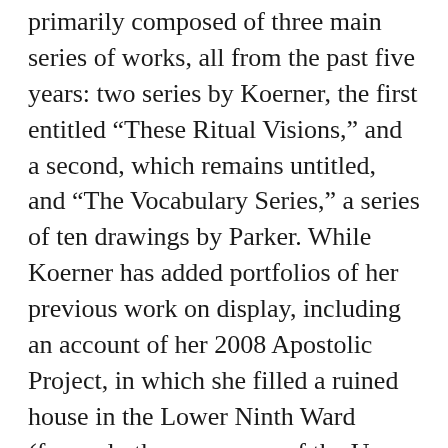primarily composed of three main series of works, all from the past five years: two series by Koerner, the first entitled “These Ritual Visions,” and a second, which remains untitled, and “The Vocabulary Series,” a series of ten drawings by Parker. While Koerner has added portfolios of her previous work on display, including an account of her 2008 Apostolic Project, in which she filled a ruined house in the Lower Ninth Ward (formerly the parsonage of the Upper Room Apostolic Church) with thousands of paper boats, the main focus is on the work on the walls. Focus, however, is the subject of the exhibition. In each of the series, the works invite the viewer to squint, stare, puzzle through, and finally come to understand what they are seeing. The “These Ritual